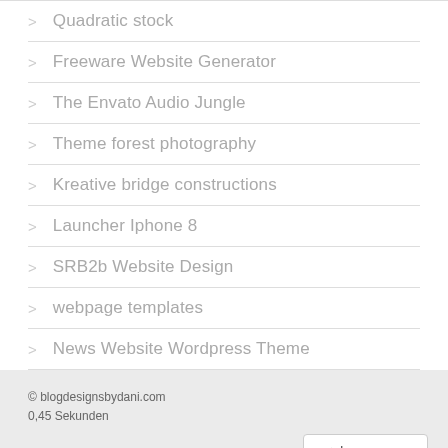Quadratic stock
Freeware Website Generator
The Envato Audio Jungle
Theme forest photography
Kreative bridge constructions
Launcher Iphone 8
SRB2b Website Design
webpage templates
News Website Wordpress Theme
© blogdesignsbydani.com
0,45 Sekunden
Impressum
Datenschutzerklärung